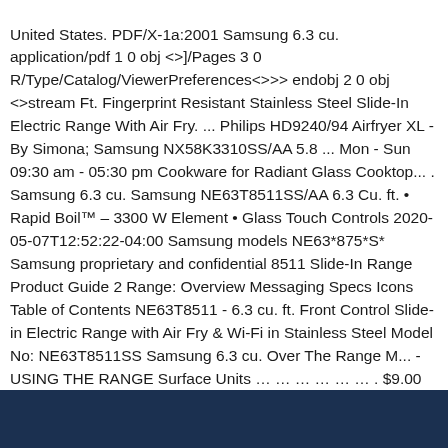United States. PDF/X-1a:2001 Samsung 6.3 cu. application/pdf 1 0 obj <>]/Pages 3 0 R/Type/Catalog/ViewerPreferences<>>> endobj 2 0 obj <>stream Ft. Fingerprint Resistant Stainless Steel Slide-In Electric Range With Air Fry. ... Philips HD9240/94 Airfryer XL - By Simona; Samsung NX58K3310SS/AA 5.8 ... Mon - Sun 09:30 am - 05:30 pm Cookware for Radiant Glass Cooktop... . Samsung 6.3 cu. Samsung NE63T8511SS/AA 6.3 Cu. ft. • Rapid Boil™ – 3300 W Element • Glass Touch Controls 2020-05-07T12:52:22-04:00 Samsung models NE63*875*S* Samsung proprietary and confidential 8511 Slide-In Range Product Guide 2 Range: Overview Messaging Specs Icons Table of Contents NE63T8511 - 6.3 cu. ft. Front Control Slide-in Electric Range with Air Fry & Wi-Fi in Stainless Steel Model No: NE63T8511SS Samsung 6.3 cu. Over The Range M... - USING THE RANGE Surface Units … … … … … … . $9.00 In-Stock: SM-NE63T8511SS SERVICE MANUAL … By Phillida; Samsung NX58M6850SG/AA 5.8 cu.